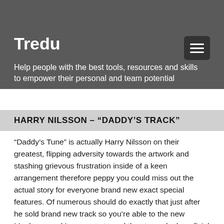songs career began to take off. Is Neil a lot like their father due to the fact however simply bought a too or once the their job kept him out of paying down in one place for long?
Tredu
Help people with the best tools, resources and skills to empower their personal and team potential
HARRY NILSSON – “DADDY’S TRACK”
“Daddy’s Tune” is actually Harry Nilsson on their greatest, flipping adversity towards the artwork and stashing grievous frustration inside of a keen arrangement therefore peppy you could miss out the actual story for everyone brand new exact special features. Of numerous should do exactly that just after he sold brand new track so you’re able to the new Monkees, and bronymate turned they toward a beneficial manic dancing program for their druggy cult antique motion picture Lead. (Nilsson’s dad overlooked out-by the full time the guy became about three, just like the we’re told when you look at the “1941,” however, Davy Jones’ never performed.)